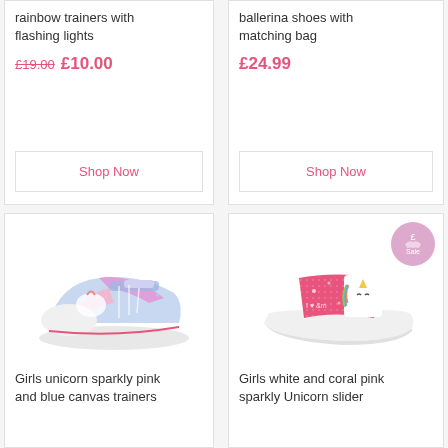rainbow trainers with flashing lights
£19.00 £10.00
Shop Now
ballerina shoes with matching bag
£24.99
Shop Now
[Figure (photo): Girls unicorn sparkly pink and blue canvas trainers product photo]
Girls unicorn sparkly pink and blue canvas trainers
[Figure (photo): Girls white and coral pink sparkly Unicorn slider product photo with sale badge]
Girls white and coral pink sparkly Unicorn slider